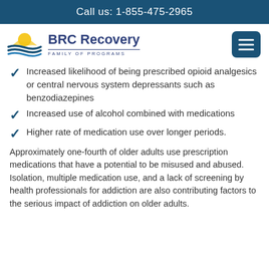Call us: 1-855-475-2965
[Figure (logo): BRC Recovery Family of Programs logo with sun and wave graphic]
Increased likelihood of being prescribed opioid analgesics or central nervous system depressants such as benzodiazepines
Increased use of alcohol combined with medications
Higher rate of medication use over longer periods.
Approximately one-fourth of older adults use prescription medications that have a potential to be misused and abused. Isolation, multiple medication use, and a lack of screening by health professionals for addiction are also contributing factors to the serious impact of addiction on older adults.